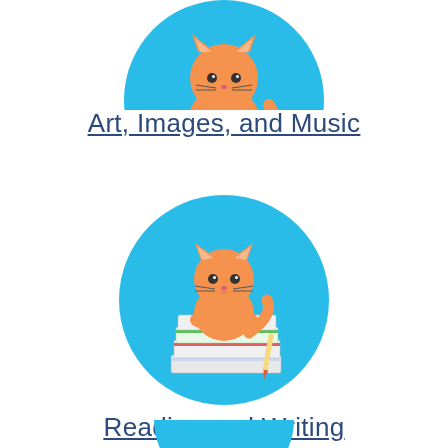[Figure (illustration): Orange cartoon cat holding a drawing/artwork card, set inside a light blue circle, partially cropped at top of page]
Art, Images, and Music
[Figure (illustration): Orange cartoon cat sitting on a stack of books with a pencil/pen, set inside a light blue circle]
Reading and Writing
[Figure (illustration): Partially visible light blue circle at bottom of page, another category illustration cropped]